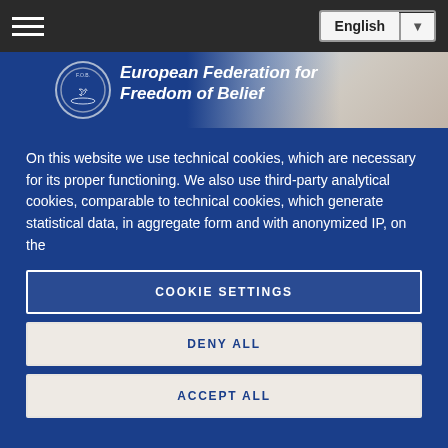Navigation bar with hamburger menu and English language selector
[Figure (logo): European Federation for Freedom of Belief logo and banner with organization name in italic bold white text on blue background, with people photo on right]
On this website we use technical cookies, which are necessary for its proper functioning. We also use third-party analytical cookies, comparable to technical cookies, which generate statistical data, in aggregate form and with anonymized IP, on the
COOKIE SETTINGS
DENY ALL
ACCEPT ALL